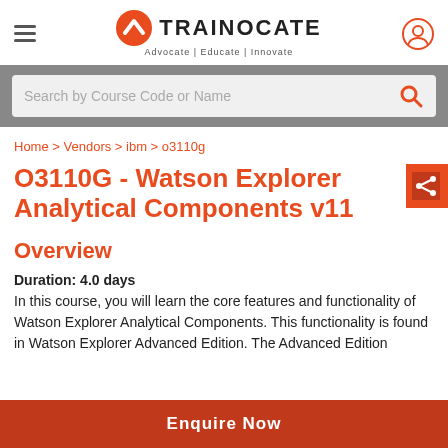[Figure (logo): Trainocate logo with orange chevron icon and text 'Trainocate - Advocate | Educate | Innovate']
Search by Course Code or Name
Home > Vendors > ibm > o3110g
O3110G - Watson Explorer Analytical Components v11
Overview
Duration: 4.0 days
In this course, you will learn the core features and functionality of Watson Explorer Analytical Components. This functionality is found in Watson Explorer Advanced Edition. The Advanced Edition
Enquire Now